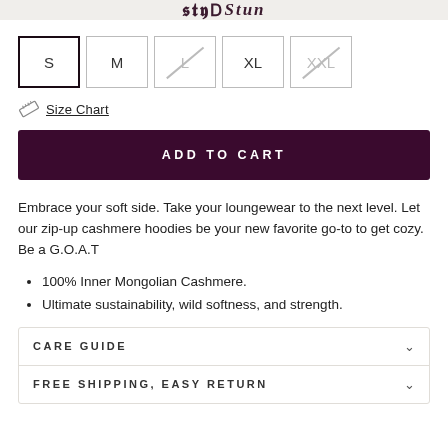Stun
S  M  L  XL  XXL
Size Chart
ADD TO CART
Embrace your soft side. Take your loungewear to the next level. Let our zip-up cashmere hoodies be your new favorite go-to to get cozy. Be a G.O.A.T
100% Inner Mongolian Cashmere.
Ultimate sustainability, wild softness, and strength.
CARE GUIDE
FREE SHIPPING, EASY RETURN